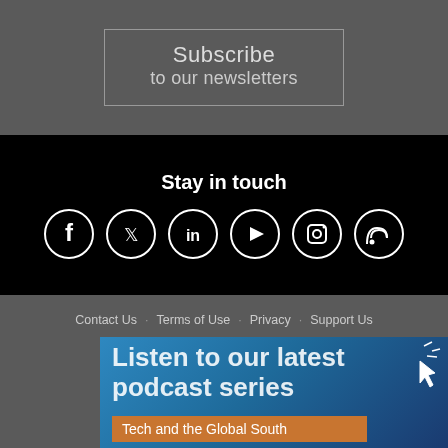Subscribe
to our newsletters
Stay in touch
[Figure (infographic): Six social media icons in circles: Facebook, Twitter, LinkedIn, YouTube, Instagram, RSS]
Contact Us   Terms of Use   Privacy   Support Us
[Figure (illustration): Blue teal podcast promotional banner with text 'Listen to our latest podcast series' and 'Tech and the Global South' label in orange, with cursor icon in top right]